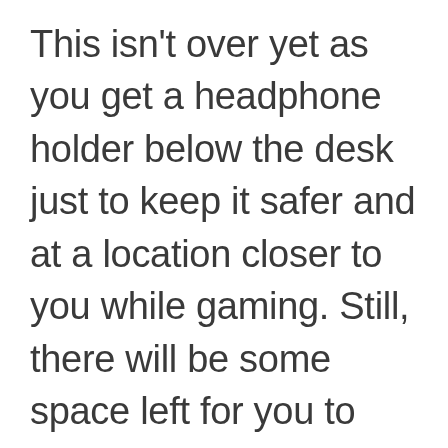This isn't over yet as you get a headphone holder below the desk just to keep it safer and at a location closer to you while gaming. Still, there will be some space left for you to keep your food and drinks closer to you. Keep your room neat and organized as the desk gives you enough space to keep your gaming stuff at a place